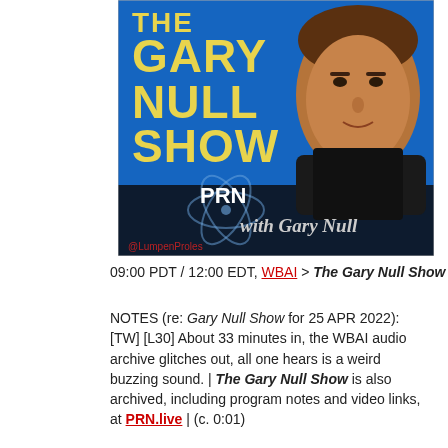[Figure (photo): The Gary Null Show podcast cover image with blue background, text 'THE GARY NULL SHOW' in yellow, 'PRN' logo, 'with Gary Null' text, photo of Gary Null, and @LumpenProles watermark]
09:00 PDT / 12:00 EDT, WBAI > The Gary Null Show
NOTES (re: Gary Null Show for 25 APR 2022): [TW] [L30] About 33 minutes in, the WBAI audio archive glitches out, all one hears is a weird buzzing sound. | The Gary Null Show is also archived, including program notes and video links, at PRN.live | (c. 0:01)